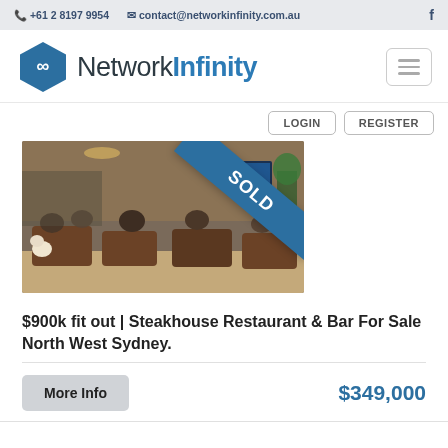📞 +61 2 8197 9954   ✉ contact@networkinfinity.com.au   f
[Figure (logo): Network Infinity hexagon logo with infinity symbol and company name]
[Figure (photo): Restaurant interior showing diners at tables, with a blue SOLD diagonal banner overlay]
$900k fit out | Steakhouse Restaurant & Bar For Sale North West Sydney.
More Info
$349,000